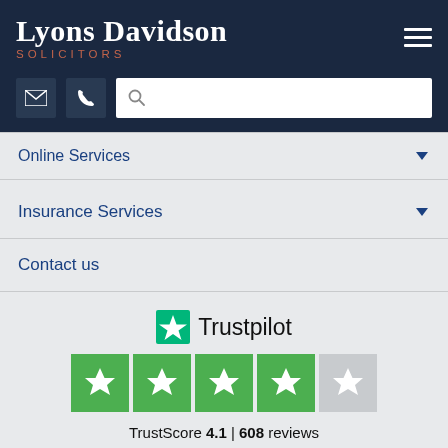Lyons Davidson SOLICITORS
[Figure (screenshot): Navigation header with email icon, phone icon, and search bar]
Online Services
Insurance Services
Contact us
[Figure (logo): Trustpilot logo with star rating 4.1 out of 5, 608 reviews, 4 green star boxes and 1 partial grey star box]
TrustScore 4.1 | 608 reviews